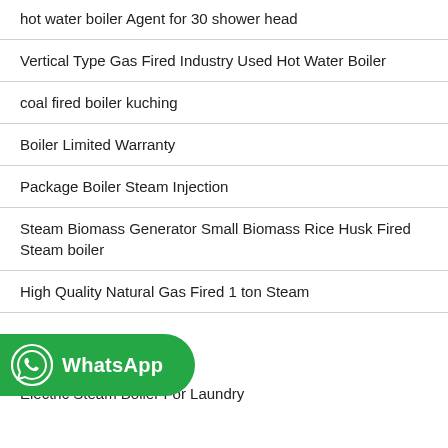hot water boiler Agent for 30 shower head
Vertical Type Gas Fired Industry Used Hot Water Boiler
coal fired boiler kuching
Boiler Limited Warranty
Package Boiler Steam Injection
Steam Biomass Generator Small Biomass Rice Husk Fired Steam boiler
High Quality Natural Gas Fired 1 ton Steam
[Figure (logo): WhatsApp button with green rounded rectangle background, WhatsApp logo icon on left, and bold white text 'WhatsApp']
Electric Steam Boiler For Laundry